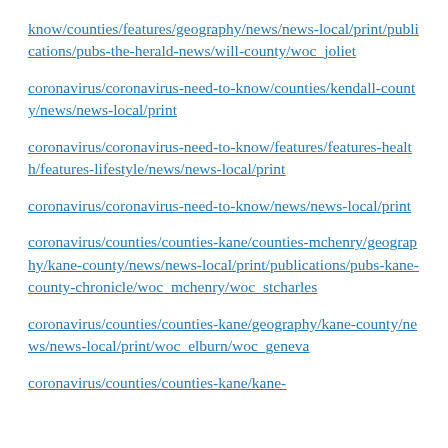know/counties/features/geography/news/news-local/print/publications/pubs-the-herald-news/will-county/woc_joliet
coronavirus/coronavirus-need-to-know/counties/kendall-county/news/news-local/print
coronavirus/coronavirus-need-to-know/features/features-health/features-lifestyle/news/news-local/print
coronavirus/coronavirus-need-to-know/news/news-local/print
coronavirus/counties/counties-kane/counties-mchenry/geography/kane-county/news/news-local/print/publications/pubs-kane-county-chronicle/woc_mchenry/woc_stcharles
coronavirus/counties/counties-kane/geography/kane-county/news/news-local/print/woc_elburn/woc_geneva
coronavirus/counties/counties-kane/kane-